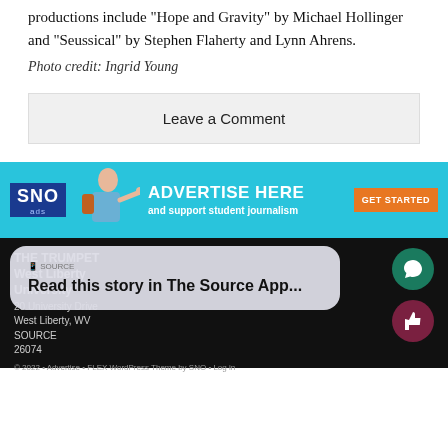productions include "Hope and Gravity" by Michael Hollinger and "Seussical" by Stephen Flaherty and Lynn Ahrens.
Photo credit: Ingrid Young
Leave a Comment
[Figure (infographic): SNO ads banner: ADVERTISE HERE and support student journalism, GET STARTED button on orange background]
THE TRUMPET
West Liberty University
20 University Drive
West Liberty, WV
26074

© 2022 • Advertise • FLEX WordPress Theme by SNO • Log in